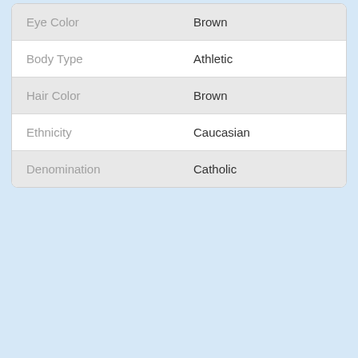| Attribute | Value |
| --- | --- |
| Eye Color | Brown |
| Body Type | Athletic |
| Hair Color | Brown |
| Ethnicity | Caucasian |
| Denomination | Catholic |